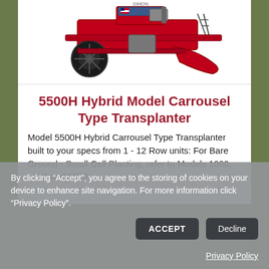[Figure (photo): Red agricultural transplanter machine (Model 5500H) on white background – a carousel type transplanter with black wheel, red frame, and metal components]
5500H Hybrid Model Carrousel Type Transplanter
Model 5500H Hybrid Carrousel Type Transplanter built to your specs from 1 - 12 Row units: For Bare Ground - Small Cell Planting, refer to Models 1000, 1100 and 5500
By clicking “Accept”, you agree to the storing of cookies on your device to enhance site navigation. For more information click "Privacy Policy".